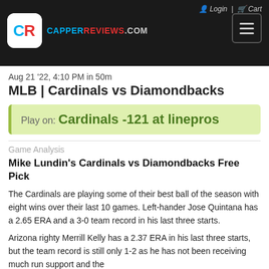Login | Cart
[Figure (logo): CapperReviews.com logo with CR badge and hamburger menu button on dark header bar]
Aug 21 '22, 4:10 PM in 50m
MLB | Cardinals vs Diamondbacks
Play on: Cardinals -121 at linepros
Game Analysis
Mike Lundin's Cardinals vs Diamondbacks Free Pick
The Cardinals are playing some of their best ball of the season with eight wins over their last 10 games. Left-hander Jose Quintana has a 2.65 ERA and a 3-0 team record in his last three starts.
Arizona righty Merrill Kelly has a 2.37 ERA in his last three starts, but the team record is still only 1-2 as he has not been receiving much run support and the